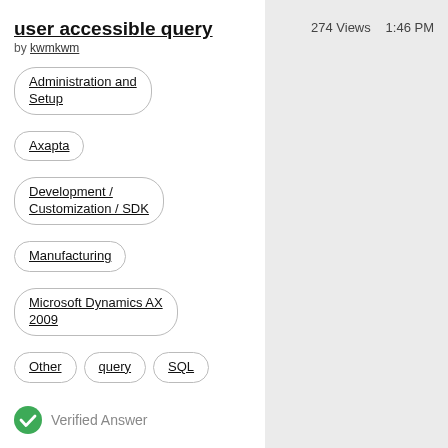user accessible query
by kwmkwm
Administration and Setup
Axapta
Development / Customization / SDK
Manufacturing
Microsoft Dynamics AX 2009
Other
query
SQL
274 Views
1:46 PM
Verified Answer